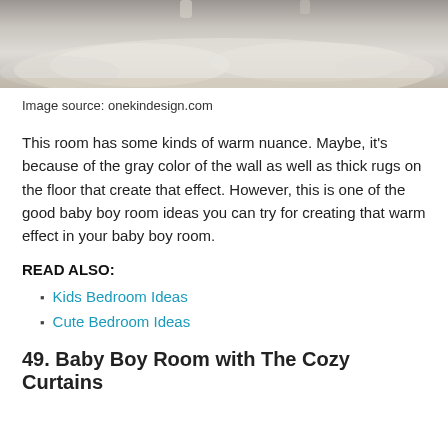[Figure (photo): Bottom portion of a baby room photo showing a fluffy white/gray rug on a light wooden floor, with white furniture legs visible at the top]
Image source: onekindesign.com
This room has some kinds of warm nuance. Maybe, it's because of the gray color of the wall as well as thick rugs on the floor that create that effect. However, this is one of the good baby boy room ideas you can try for creating that warm effect in your baby boy room.
READ ALSO:
Kids Bedroom Ideas
Cute Bedroom Ideas
49. Baby Boy Room with The Cozy Curtains